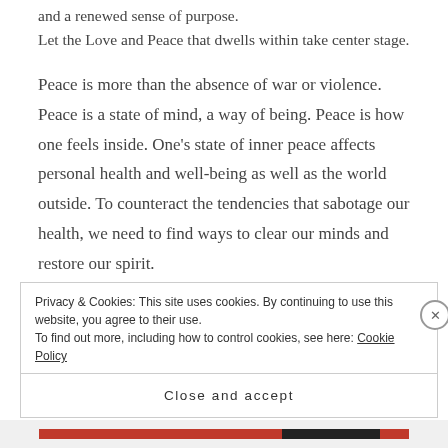and a renewed sense of purpose.
Let the Love and Peace that dwells within take center stage.
Peace is more than the absence of war or violence. Peace is a state of mind, a way of being. Peace is how one feels inside. One's state of inner peace affects personal health and well-being as well as the world outside. To counteract the tendencies that sabotage our health, we need to find ways to clear our minds and restore our spirit.
Privacy & Cookies: This site uses cookies. By continuing to use this website, you agree to their use.
To find out more, including how to control cookies, see here: Cookie Policy
Close and accept